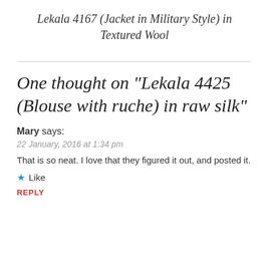Lekala 4167 (Jacket in Military Style) in Textured Wool
One thought on “Lekala 4425 (Blouse with ruche) in raw silk”
Mary says:
22 January, 2016 at 1:34 pm
That is so neat. I love that they figured it out, and posted it.
★ Like
REPLY